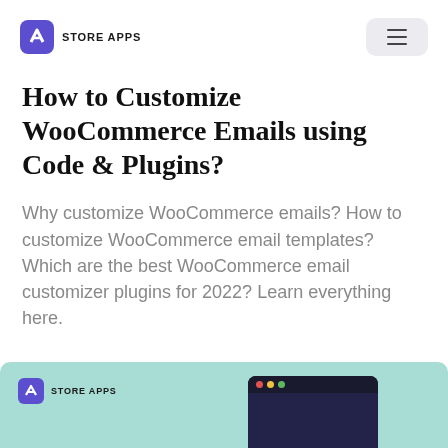STORE APPS
How to Customize WooCommerce Emails using Code & Plugins?
Why customize WooCommerce emails? How to customize WooCommerce email templates? Which are the best WooCommerce email customizer plugins for 2022? Learn everything here.
[Figure (screenshot): Thumbnail image with teal background showing Store Apps logo and a dark browser window partial preview]